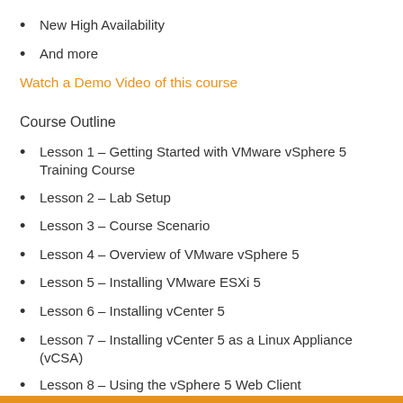New High Availability
And more
Watch a Demo Video of this course
Course Outline
Lesson 1 – Getting Started with VMware vSphere 5 Training Course
Lesson 2 – Lab Setup
Lesson 3 – Course Scenario
Lesson 4 – Overview of VMware vSphere 5
Lesson 5 – Installing VMware ESXi 5
Lesson 6 – Installing vCenter 5
Lesson 7 – Installing vCenter 5 as a Linux Appliance (vCSA)
Lesson 8 – Using the vSphere 5 Web Client
Lesson 9 – What's New in vSphere 5
Lesson 10 – Navigating vSphere Using the vSphere Client
Lesson 11 – vCenter 5 – Configuring Your New Virtual